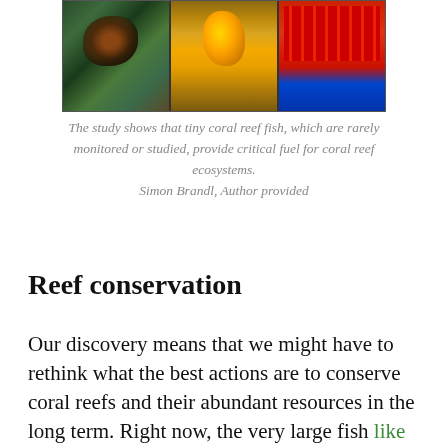[Figure (photo): Three side-by-side coral reef fish photos: left shows a dark spotted fish among coral, center shows a bright yellow-orange fish, right shows red coral or sea life with a blue background.]
The study shows that tiny coral reef fish, which are rarely monitored or studied, provide critical fuel for coral reef ecosystems.
Simon Brandl, Author provided
Reef conservation
Our discovery means that we might have to rethink what the best actions are to conserve coral reefs and their abundant resources in the long term. Right now, the very large fish like sharks or groupers, get most of the attention. Large stretches of coastal ocean, including swathes of coral reefs, have been declared off-